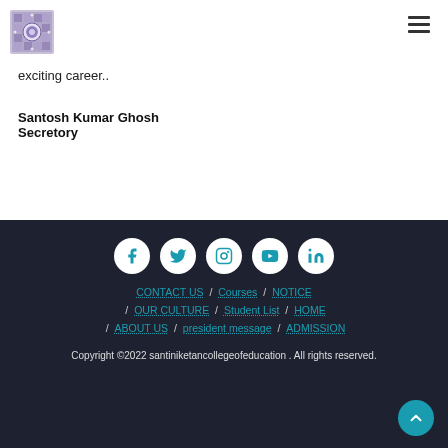[Figure (logo): College logo - decorative square emblem with geometric pattern and purple tones]
exciting career..
Santosh Kumar Ghosh
Secretory
[Figure (infographic): Footer with social media icons (Facebook, Twitter, Instagram, YouTube, LinkedIn), navigation links, and copyright text]
CONTACT US / Courses / NOTICE / OUR CULTURE / Student List / HOME / ABOUT US / president message / ADMISSION
Copyright ©2022 santiniketancollegeofeducation . All rights reserved.